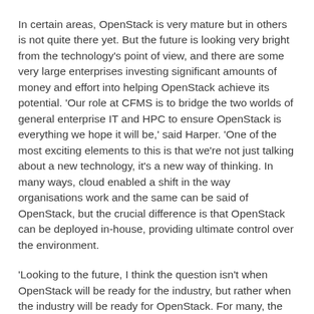In certain areas, OpenStack is very mature but in others is not quite there yet. But the future is looking very bright from the technology's point of view, and there are some very large enterprises investing significant amounts of money and effort into helping OpenStack achieve its potential. 'Our role at CFMS is to bridge the two worlds of general enterprise IT and HPC to ensure OpenStack is everything we hope it will be,' said Harper. 'One of the most exciting elements to this is that we're not just talking about a new technology, it's a new way of thinking. In many ways, cloud enabled a shift in the way organisations work and the same can be said of OpenStack, but the crucial difference is that OpenStack can be deployed in-house, providing ultimate control over the environment.
'Looking to the future, I think the question isn't when OpenStack will be ready for the industry, but rather when the industry will be ready for OpenStack. For many, the adoption of new technologies or shift cultures is like trying to turn a fuel tanker! It's often a slow and somewhat precarious situation. Even with evangelists and enthusiasts within the organisation, getting security policies updated, forging relationships with